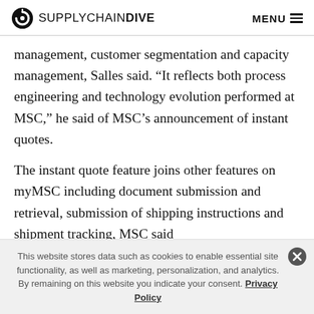SUPPLYCHAINDIVE  MENU
management, customer segmentation and capacity management, Salles said. “It reflects both process engineering and technology evolution performed at MSC,” he said of MSC’s announcement of instant quotes.
The instant quote feature joins other features on myMSC including document submission and retrieval, submission of shipping instructions and shipment tracking, MSC said
This website stores data such as cookies to enable essential site functionality, as well as marketing, personalization, and analytics. By remaining on this website you indicate your consent. Privacy Policy